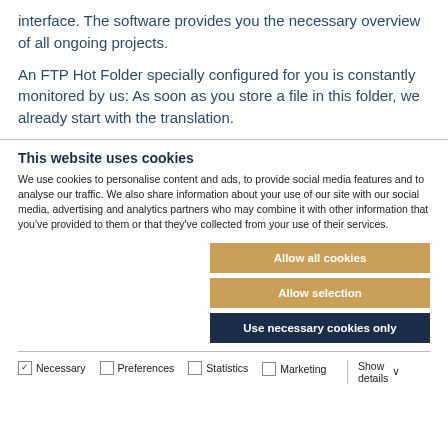interface. The software provides you the necessary overview of all ongoing projects.
An FTP Hot Folder specially configured for you is constantly monitored by us: As soon as you store a file in this folder, we already start with the translation.
This website uses cookies
We use cookies to personalise content and ads, to provide social media features and to analyse our traffic. We also share information about your use of our site with our social media, advertising and analytics partners who may combine it with other information that you've provided to them or that they've collected from your use of their services.
Allow all cookies
Allow selection
Use necessary cookies only
Necessary  Preferences  Statistics  Marketing  Show details